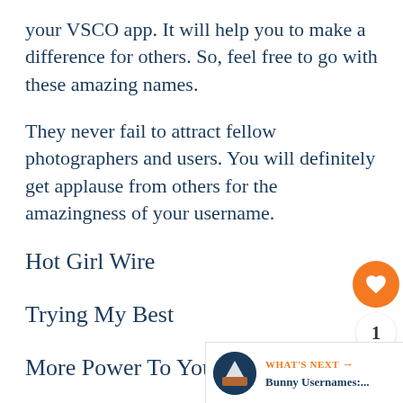your VSCO app. It will help you to make a difference for others. So, feel free to go with these amazing names.
They never fail to attract fellow photographers and users. You will definitely get applause from others for the amazingness of your username.
Hot Girl Wire
Trying My Best
More Power To You
Savage Girl